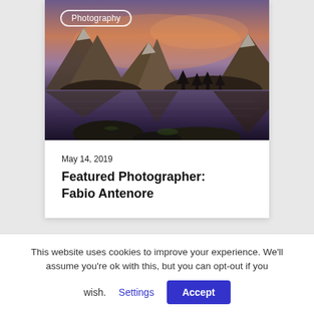[Figure (photo): Mountain landscape with alpine lake reflecting snow-capped peaks under a pink and purple sunset sky, with dark trees in the foreground and rocky shore in the bottom.]
Photography
May 14, 2019
Featured Photographer: Fabio Antenore
This website uses cookies to improve your experience. We'll assume you're ok with this, but you can opt-out if you wish.
Settings  Accept